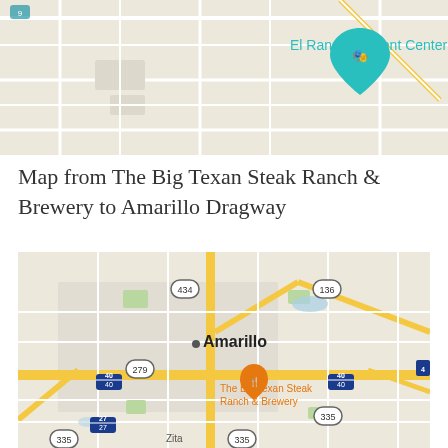[Figure (map): Google Maps screenshot showing El Ranchito Event Center location with teal map pin, road network on beige/tan background]
Map from The Big Texan Steak Ranch & Brewery to Amarillo Dragway
[Figure (map): Google Maps screenshot of Amarillo, Texas showing The Big Texan Steak Ranch & Brewery orange pin, road network with highways 434, 136, 279, 40, 27, 335, city label Amarillo, and town Zita in lower portion]